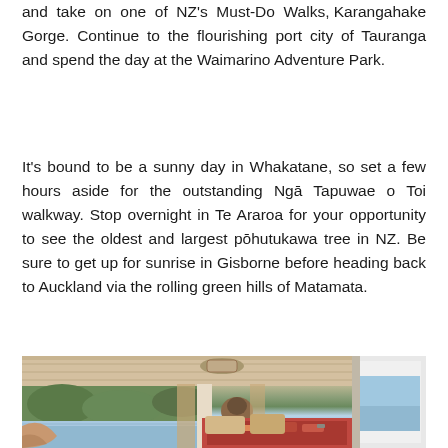and take on one of NZ's Must-Do Walks, Karangahake Gorge. Continue to the flourishing port city of Tauranga and spend the day at the Waimarino Adventure Park.
It's bound to be a sunny day in Whakatane, so set a few hours aside for the outstanding Ngā Tapuwae o Toi walkway. Stop overnight in Te Araroa for your opportunity to see the oldest and largest pōhutukawa tree in NZ. Be sure to get up for sunrise in Gisborne before heading back to Auckland via the rolling green hills of Matamata.
[Figure (photo): Interior of a campervan showing wooden ceiling panels, windows with views of green trees and ocean coastline, bedding with patterned textiles, curtains, and a hat hanging on the wall. The photo is taken from inside the van looking toward the open side door.]